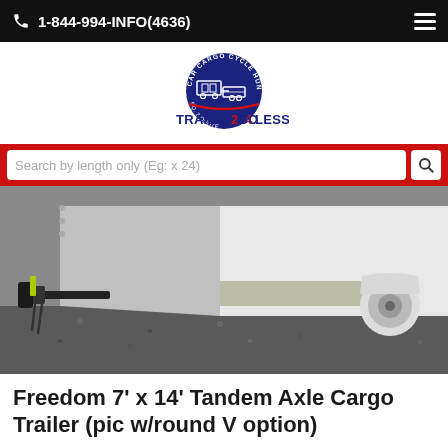1-844-994-INFO(4636)
[Figure (logo): Trailers2Go4Less logo — circular emblem with trailer illustration and text arched around it, with TRAILERS2GO4LESS wordmark below]
Search by length only (Eg:  x 24)
[Figure (photo): Close-up photograph of a trailer hitch and lower frame/fender area of a cargo trailer on a gravel surface. The trailer has aluminum diamond-plate trim and a black hitch/coupler mechanism visible on the left.]
Freedom 7' x 14' Tandem Axle Cargo Trailer (pic w/round V option)